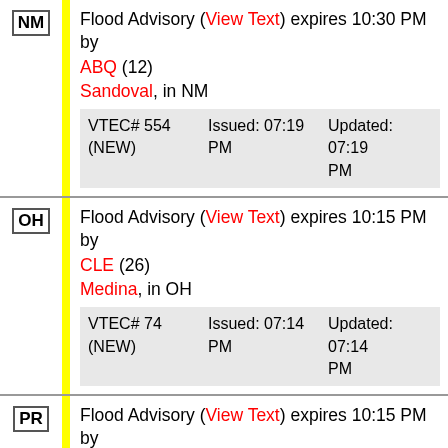NM | Flood Advisory (View Text) expires 10:30 PM by ABQ (12) Sandoval, in NM | VTEC# 554 (NEW) | Issued: 07:19 PM | Updated: 07:19 PM
OH | Flood Advisory (View Text) expires 10:15 PM by CLE (26) Medina, in OH | VTEC# 74 (NEW) | Issued: 07:14 PM | Updated: 07:14 PM
PR | Flood Advisory (View Text) expires 10:15 PM by JSJ (WS) Humacao, Yabucoa, in PR | VTEC# 201 (NEW) | Issued: 07:10 PM | Updated: 07:10 PM